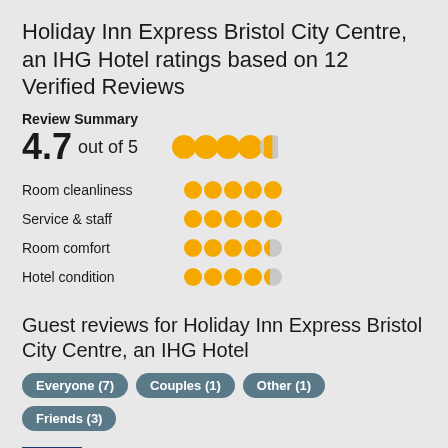Holiday Inn Express Bristol City Centre, an IHG Hotel ratings based on 12 Verified Reviews
Review Summary
4.7 out of 5
Room cleanliness
Service & staff
Room comfort
Hotel condition
Guest reviews for Holiday Inn Express Bristol City Centre, an IHG Hotel
Everyone (7)
Couples (1)
Other (1)
Friends (3)
Great location for the train station and only a short walk to the Old City and Quayside